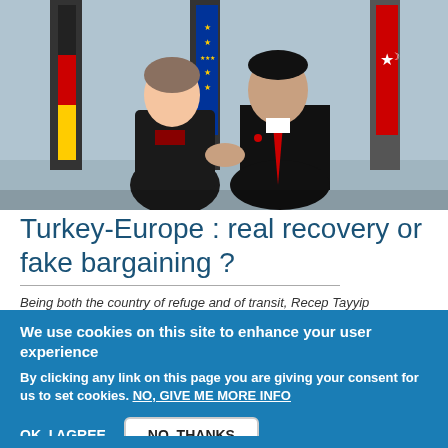[Figure (photo): Two people shaking hands in front of flags including German, EU, and Turkish flags. A woman in a black jacket and a man in a dark suit with red tie are posing for a diplomatic photo.]
Turkey-Europe : real recovery or fake bargaining ?
Being both the country of refuge and of transit, Recep Tayyip
We use cookies on this site to enhance your user experience
By clicking any link on this page you are giving your consent for us to set cookies. NO, GIVE ME MORE INFO
OK, I AGREE    NO, THANKS